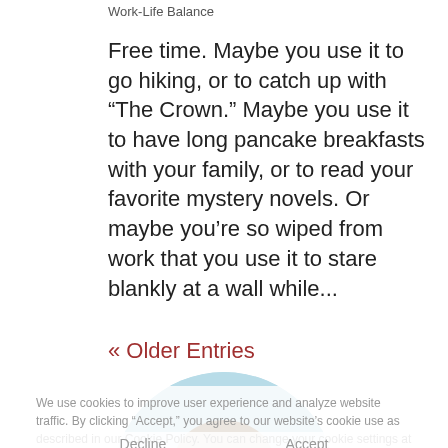Work-Life Balance
Free time. Maybe you use it to go hiking, or to catch up with “The Crown.” Maybe you use it to have long pancake breakfasts with your family, or to read your favorite mystery novels. Or maybe you’re so wiped from work that you use it to stare blankly at a wall while...
« Older Entries
[Figure (photo): Circular profile photo of a smiling woman with shoulder-length brown hair, on a light blue background]
We use cookies to improve user experience and analyze website traffic. By clicking “Accept,” you agree to our website’s cookie use as described in our Cookie Policy. You can change your cookie settings at any time by clicking “Preferences.”
Decline   Accept